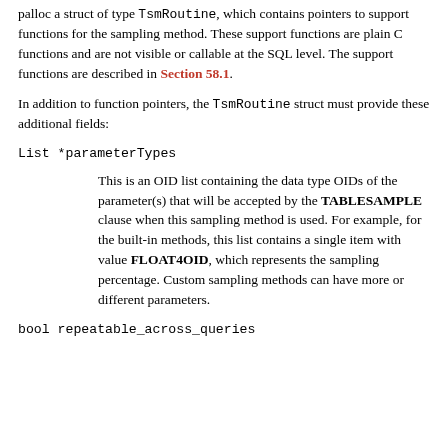palloc a struct of type TsmRoutine, which contains pointers to support functions for the sampling method. These support functions are plain C functions and are not visible or callable at the SQL level. The support functions are described in Section 58.1.
In addition to function pointers, the TsmRoutine struct must provide these additional fields:
List *parameterTypes
This is an OID list containing the data type OIDs of the parameter(s) that will be accepted by the TABLESAMPLE clause when this sampling method is used. For example, for the built-in methods, this list contains a single item with value FLOAT4OID, which represents the sampling percentage. Custom sampling methods can have more or different parameters.
bool repeatable_across_queries